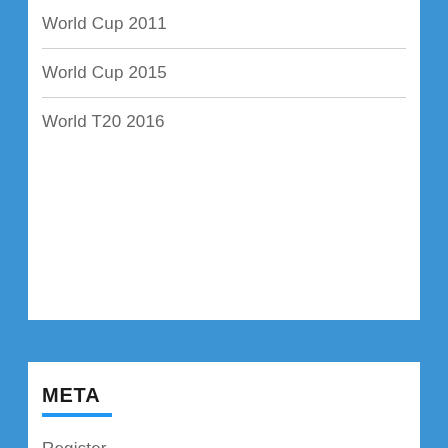World Cup 2011
World Cup 2015
World T20 2016
META
Register
Log in
Entries feed
Comments feed
WordPress.org